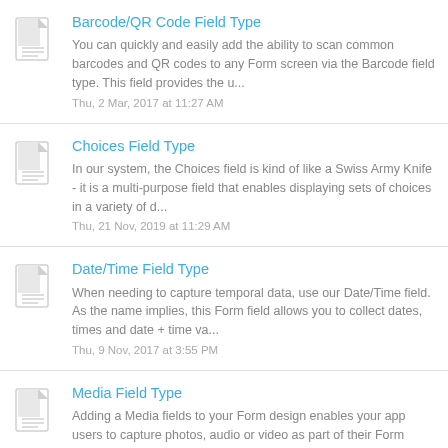Barcode/QR Code Field Type
You can quickly and easily add the ability to scan common barcodes and QR codes to any Form screen via the Barcode field type. This field provides the u...
Thu, 2 Mar, 2017 at 11:27 AM
Choices Field Type
In our system, the Choices field is kind of like a Swiss Army Knife - it is a multi-purpose field that enables displaying sets of choices in a variety of d...
Thu, 21 Nov, 2019 at 11:29 AM
Date/Time Field Type
When needing to capture temporal data, use our Date/Time field. As the name implies, this Form field allows you to collect dates, times and date + time va...
Thu, 9 Nov, 2017 at 3:55 PM
Media Field Type
Adding a Media fields to your Form design enables your app users to capture photos, audio or video as part of their Form submission. Simply drag in...